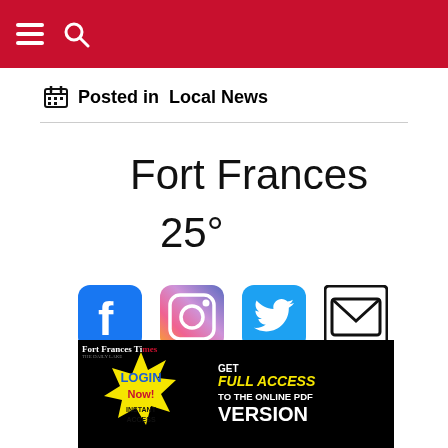Navigation header with hamburger menu and search icon
Posted in  Local News
Fort Frances  25°
[Figure (illustration): Social media icons: Facebook (blue), Instagram (gradient), Twitter (blue), Email (black outline envelope)]
[Figure (screenshot): Fort Frances Times advertisement banner: LOGIN Now! INSTANT ACCESS - GET FULL ACCESS TO THE ONLINE PDF VERSION]